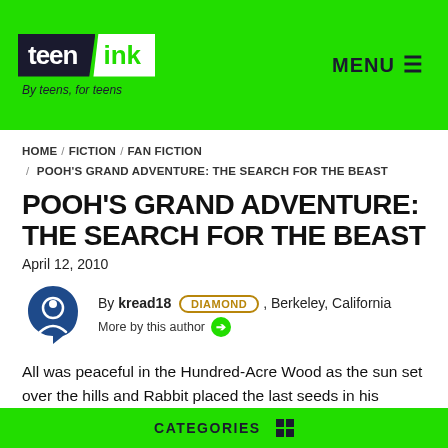teen ink — By teens, for teens — MENU
HOME / FICTION / FAN FICTION / POOH'S GRAND ADVENTURE: THE SEARCH FOR THE BEAST
POOH'S GRAND ADVENTURE: THE SEARCH FOR THE BEAST
April 12, 2010
By kread18 DIAMOND, Berkeley, California
More by this author →
All was peaceful in the Hundred-Acre Wood as the sun set over the hills and Rabbit placed the last seeds in his garden.
CATEGORIES